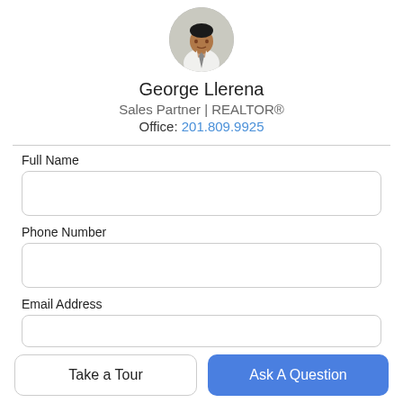[Figure (photo): Circular profile photo of agent George Llerena, a man in a white shirt adjusting his tie]
George Llerena
Sales Partner | REALTOR®
Office: 201.809.9925
Full Name
Phone Number
Email Address
Take a Tour
Ask A Question